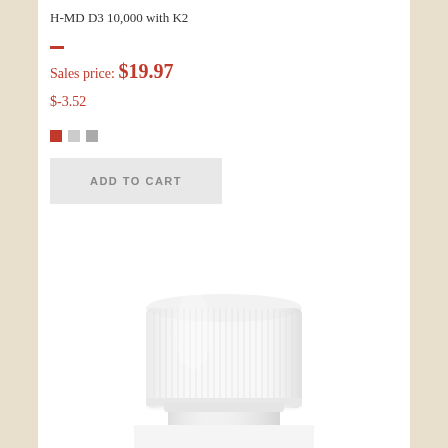H-MD D3 10,000 with K2
Sales price: $19.97
$-3.52
[Figure (photo): White supplement bottle with ribbed white cap, partially cropped showing top portion of bottle]